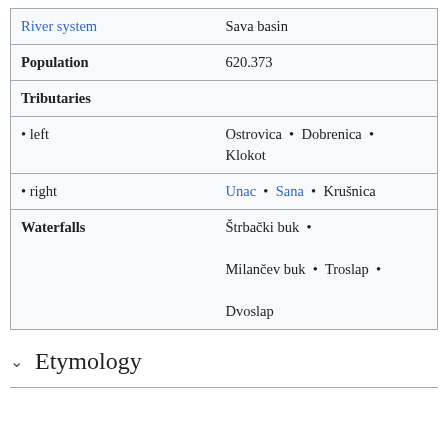| Property | Value |
| --- | --- |
| River system | Sava basin |
| Population | 620.373 |
| Tributaries |  |
| • left | Ostrovica • Dobrenica • Klokot |
| • right | Unac • Sana • Krušnica |
| Waterfalls | Štrbački buk • Milančev buk • Troslap • Dvoslap |
Etymology